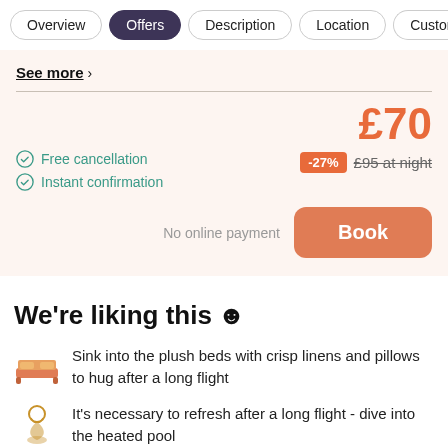Overview | Offers | Description | Location | Customer
See more >
£70
Free cancellation
Instant confirmation
-27% £95 at night
No online payment  Book
We're liking this 😊
Sink into the plush beds with crisp linens and pillows to hug after a long flight
It's necessary to refresh after a long flight - dive into the heated pool